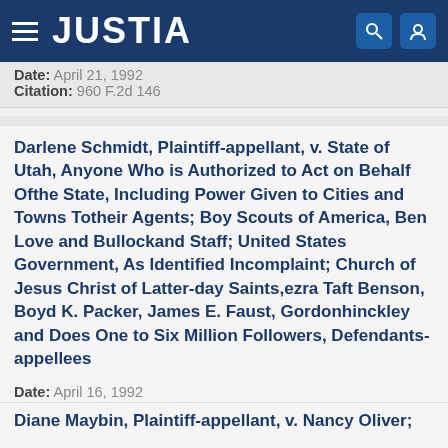JUSTIA
Date: April 21, 1992
Citation: 960 F.2d 146
Darlene Schmidt, Plaintiff-appellant, v. State of Utah, Anyone Who is Authorized to Act on Behalf Ofthe State, Including Power Given to Cities and Towns Totheir Agents; Boy Scouts of America, Ben Love and Bullockand Staff; United States Government, As Identified Incomplaint; Church of Jesus Christ of Latter-day Saints,ezra Taft Benson, Boyd K. Packer, James E. Faust, Gordonhinckley and Does One to Six Million Followers, Defendants-appellees
Date: April 16, 1992
Citation: 960 F.2d 146
Diane Maybin, Plaintiff-appellant, v. Nancy Oliver;